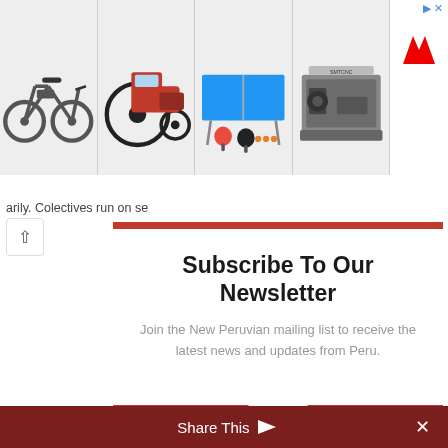[Figure (screenshot): Ad banner showing four product images: electric bicycle, red tractor, ping pong table with paddles, CNC lathe machine. Right side shows a stylized red M logo (MediaMarkt or similar) with a blue arrow/ad indicator in the top right corner.]
arily. Colectives run on set fares.
Subscribe To Our Newsletter
Join the New Peruvian mailing list to receive the latest news and updates from Peru.
EMAIL
SUBSCRIBE!
Share This